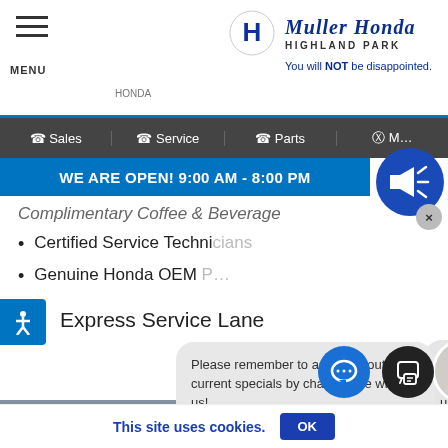MENU | Honda | Muller Honda Highland Park | You will NOT be disappointed.
Sales | Service | Parts | M...
WE ARE OPEN! 9:00 AM - 8:00 PM
Complimentary Coffee & Beverages
Certified Service Technicians
Genuine Honda OEM Parts
Express Service Lane
Please remember to ask us about our current specials by chatting live with us!
[Figure (photo): Service lane interior showing 'Please Pull Forward' hanging sign in a Honda dealership service bay]
This site uses cookies. OK